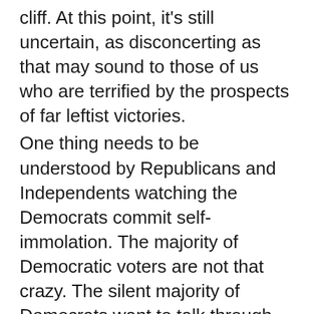cliff. At this point, it's still uncertain, as disconcerting as that may sound to those of us who are terrified by the prospects of far leftist victories.
One thing needs to be understood by Republicans and Independents watching the Democrats commit self-immolation. The majority of Democratic voters are not that crazy. The silent majority of Democrats want to talk through differences. They appreciate the lowered taxes they're seeing and the jobs that are emerging. They don't like the prospects of an originalist-stacked Supreme Court, but they're shaking their heads at people clawing at the doors of the Supreme Court just like the rest of us.
The unhinged minority on the far left are